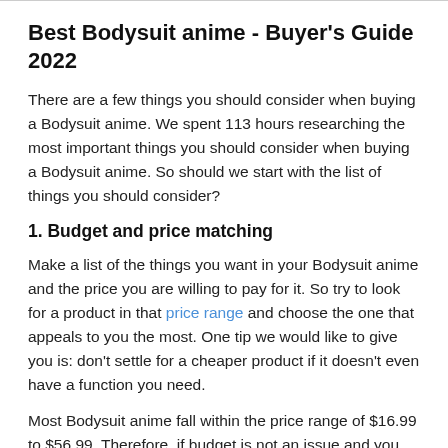Best Bodysuit anime - Buyer's Guide 2022
There are a few things you should consider when buying a Bodysuit anime. We spent 113 hours researching the most important things you should consider when buying a Bodysuit anime. So should we start with the list of things you should consider?
1. Budget and price matching
Make a list of the things you want in your Bodysuit anime and the price you are willing to pay for it. So try to look for a product in that price range and choose the one that appeals to you the most. One tip we would like to give you is: don't settle for a cheaper product if it doesn't even have a function you need.
Most Bodysuit anime fall within the price range of $16.99 to $56.99. Therefore, if budget is not an issue and you